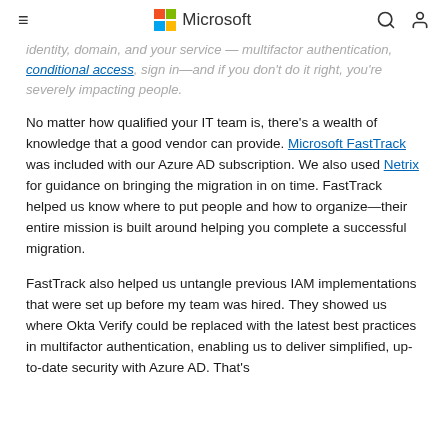Microsoft
identity, domain, and your service — multifactor authentication, conditional access, sign in—and if you don't do it right, you're severely impacting people.
No matter how qualified your IT team is, there's a wealth of knowledge that a good vendor can provide. Microsoft FastTrack was included with our Azure AD subscription. We also used Netrix for guidance on bringing the migration in on time. FastTrack helped us know where to put people and how to organize—their entire mission is built around helping you complete a successful migration.
FastTrack also helped us untangle previous IAM implementations that were set up before my team was hired. They showed us where Okta Verify could be replaced with the latest best practices in multifactor authentication, enabling us to deliver simplified, up-to-date security with Azure AD. That's